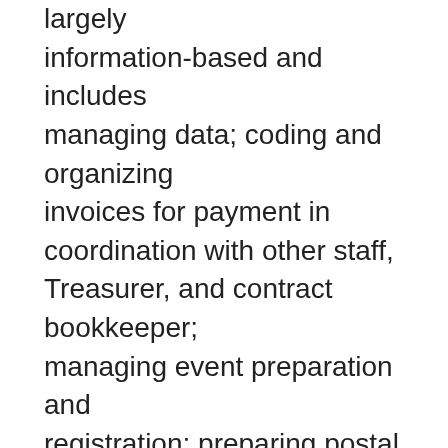largely information-based and includes managing data; coding and organizing invoices for payment in coordination with other staff, Treasurer, and contract bookkeeper; managing event preparation and registration; preparing postal mailings; organizing and managing outreach supplies and merchandise; managing MPF's Square store; filing hard copy and electronic documents; and some event participation